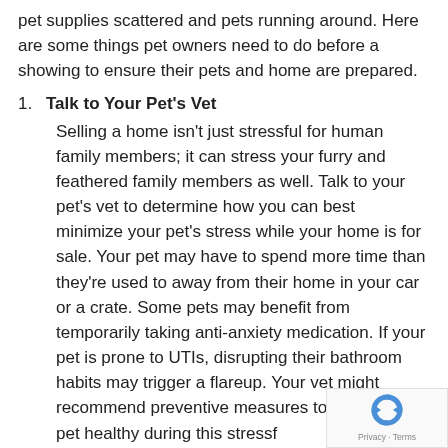pet supplies scattered and pets running around. Here are some things pet owners need to do before a showing to ensure their pets and home are prepared.
Talk to Your Pet's Vet
Selling a home isn't just stressful for human family members; it can stress your furry and feathered family members as well. Talk to your pet's vet to determine how you can best minimize your pet's stress while your home is for sale. Your pet may have to spend more time than they're used to away from their home in your car or a crate. Some pets may benefit from temporarily taking anti-anxiety medication. If your pet is prone to UTIs, disrupting their bathroom habits may trigger a flareup. Your vet might recommend preventive measures to keep your pet healthy during this stressful time.